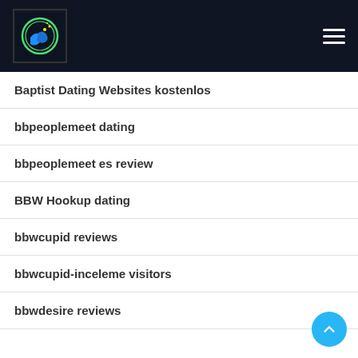Site navigation header with logo and hamburger menu
Baptist Dating Websites kostenlos
bbpeoplemeet dating
bbpeoplemeet es review
BBW Hookup dating
bbwcupid reviews
bbwcupid-inceleme visitors
bbwdesire reviews